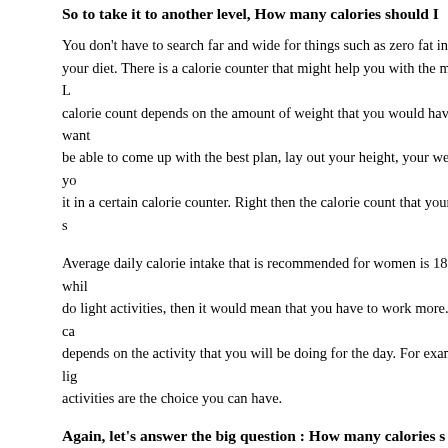So to take it to another level, How many calories should I
You don't have to search far and wide for things such as zero fat in your diet. There is a calorie counter that might help you with the matter. L calorie count depends on the amount of weight that you would have want be able to come up with the best plan, lay out your height, your weight, y it in a certain calorie counter. Right then the calorie count that your food s
Average daily calorie intake that is recommended for women is 1800 whi do light activities, then it would mean that you have to work more. The ca depends on the activity that you will be doing for the day. For example, lig activities are the choice you can have.
Again, let's answer the big question : How many calories s weight?
Let's have this example. Say you are 204 lbs in weight, you stand 5 ft and 20 and you do only light activities. If you want to lose 40 lbs in two month calorie intake per day. This way you will progress in losing your extra wei achieved your optimum result.
So again if you are still asking if how much calorie you need to eat to lose plunge headfirst to a crash diet and discarding all the calories. Better con is the healthier option as It helps you to do the weight loss gradually. By c